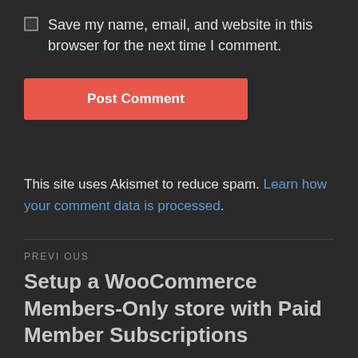Save my name, email, and website in this browser for the next time I comment.
Post Comment
This site uses Akismet to reduce spam. Learn how your comment data is processed.
PREVIOUS
Setup a WooCommerce Members-Only store with Paid Member Subscriptions